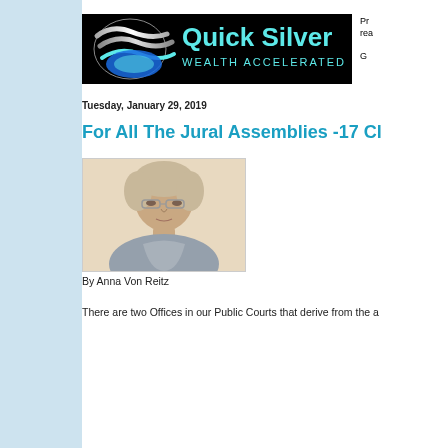[Figure (logo): Quick Silver Wealth Accelerated logo - black background with teal/silver wave design and teal text]
Pr...
rea...
G...
Tuesday, January 29, 2019
For All The Jural Assemblies -17 Cl...
[Figure (photo): Photo of Anna Von Reitz - middle-aged woman with short gray-blonde hair and glasses]
By Anna Von Reitz
There are two Offices in our Public Courts that derive from the a...